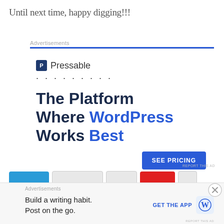Until next time, happy digging!!!
[Figure (screenshot): Pressable advertisement banner: 'The Platform Where WordPress Works Best' with a 'SEE PRICING' button. Pressable logo at top with dotted separator. Blue header line. Report this ad link.]
[Figure (screenshot): Bottom bar advertisement: 'Build a writing habit. Post on the go.' with GET THE APP link and WordPress icon. Close button (circled X) on right.]